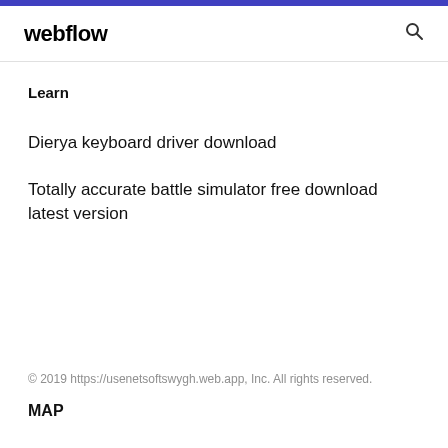webflow
Learn
Dierya keyboard driver download
Totally accurate battle simulator free download latest version
© 2019 https://usenetsoftswygh.web.app, Inc. All rights reserved.
MAP